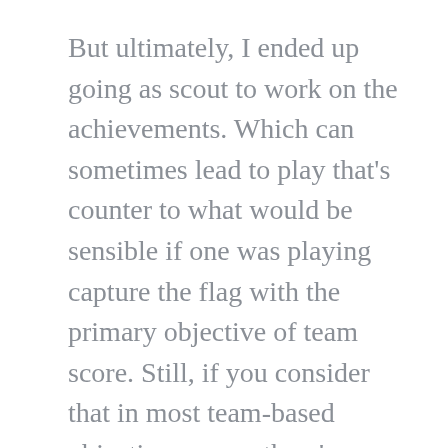But ultimately, I ended up going as scout to work on the achievements. Which can sometimes lead to play that's counter to what would be sensible if one was playing capture the flag with the primary objective of team score. Still, if you consider that in most team-based objective games, there's a hefty part of players who are busy playing team deathmatch instead, one more bit of erratic achievement-seeking behavior doesn't really matter.

The standard Reddit suggestion for running the flag is to go scout, use 5 for